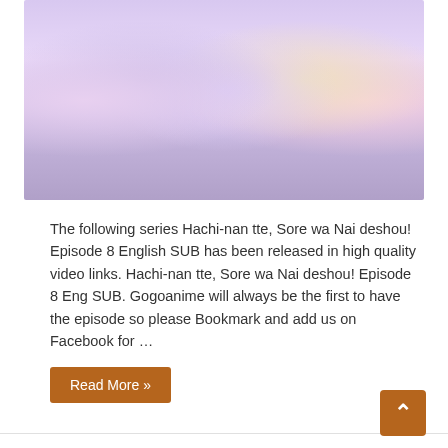[Figure (illustration): Anime illustration showing a group of female characters in colorful outfits and maid/fantasy costumes standing together against a purple/sparkle background]
The following series Hachi-nan tte, Sore wa Nai deshou! Episode 8 English SUB has been released in high quality video links. Hachi-nan tte, Sore wa Nai deshou! Episode 8 Eng SUB. Gogoanime will always be the first to have the episode so please Bookmark and add us on Facebook for …
Read More »
Hachi-nan tte, Sore wa Nai deshou! Episode 7 English SUB
May 13, 2020  Hachi-nan tte  0